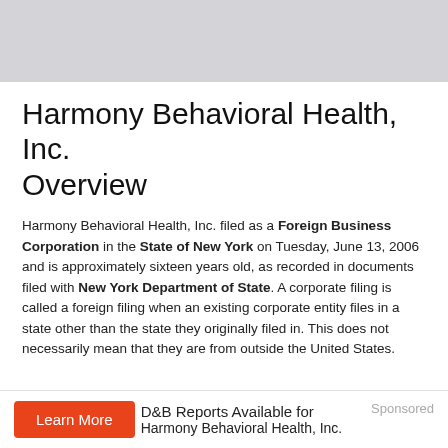Harmony Behavioral Health, Inc. Overview
Harmony Behavioral Health, Inc. filed as a Foreign Business Corporation in the State of New York on Tuesday, June 13, 2006 and is approximately sixteen years old, as recorded in documents filed with New York Department of State. A corporate filing is called a foreign filing when an existing corporate entity files in a state other than the state they originally filed in. This does not necessarily mean that they are from outside the United States.
Learn More  D&B Reports Available for Harmony Behavioral Health, Inc.  Sponsored